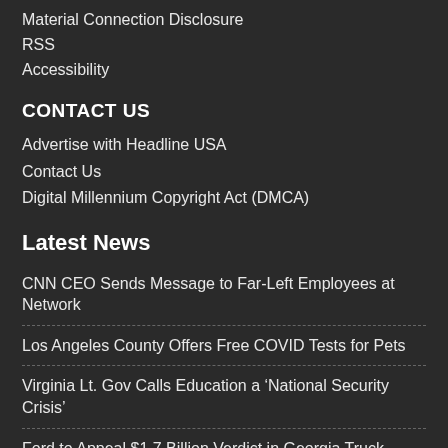Material Connection Disclosure
RSS
Accessibility
CONTACT US
Advertise with Headline USA
Contact Us
Digital Millennium Copyright Act (DMCA)
Latest News
CNN CEO Sends Message to Far-Left Employees at Network
Los Angeles County Offers Free COVID Tests for Pets
Virginia Lt. Gov Calls Education a ‘National Security Crisis’
Ford to Appeal $1.7 Billion Verdict in Georgia Truck Crash